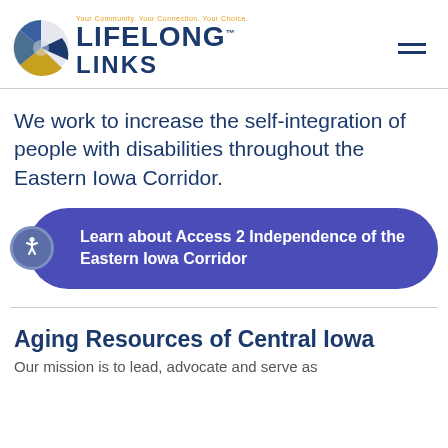[Figure (logo): Lifelong Links logo with circular icon showing blue and gold segments, tagline 'Your Community. Your Connection. Your Choice.' in orange, and bold dark blue text 'LIFELONG LINKS' with a TM mark]
We work to increase the self-integration of people with disabilities throughout the Eastern Iowa Corridor.
Learn about Access 2 Independence of the Eastern Iowa Corridor
Aging Resources of Central Iowa
Our mission is to lead, advocate and serve as